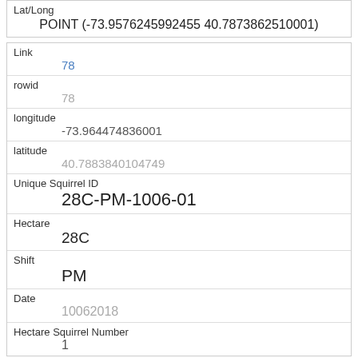| Field | Value |
| --- | --- |
| Lat/Long | POINT (-73.9576245992455 40.7873862510001) |
| Link | 78 |
| rowid | 78 |
| longitude | -73.964474836001 |
| latitude | 40.7883840104749 |
| Unique Squirrel ID | 28C-PM-1006-01 |
| Hectare | 28C |
| Shift | PM |
| Date | 10062018 |
| Hectare Squirrel Number | 1 |